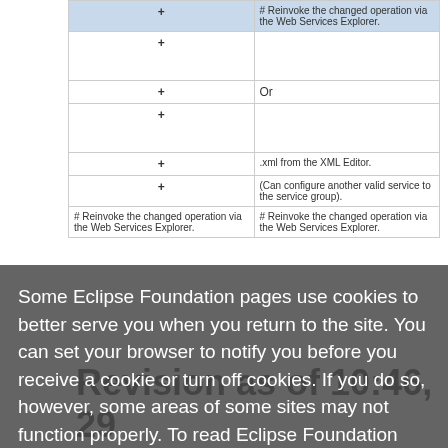| # Reinvoke the changed operation via the Web Services Explorer. |
|  |
| Or |
|  |
| .xml | from the XML Editor. |
| (Can | configure another valid service to the service group). |
| # Reinvoke the changed operation via the Web Services Explorer. | # Reinvoke the changed operation via the Web Services Explorer. |
Some Eclipse Foundation pages use cookies to better serve you when you return to the site. You can set your browser to notify you before you receive a cookie or turn off cookies. If you do so, however, some areas of some sites may not function properly. To read Eclipse Foundation Privacy Policy click here.
Decline
Allow cookies
Revision as of 10:46, 29